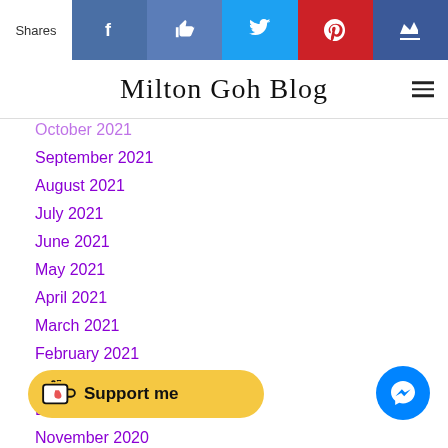[Figure (infographic): Social share bar with Facebook, Like, Twitter, Pinterest, and crown icons on colored backgrounds]
Milton Goh Blog
October 2021
September 2021
August 2021
July 2021
June 2021
May 2021
April 2021
March 2021
February 2021
January 2021
December 2020
November 2020
October 2020 (partial)
August 2020
[Figure (infographic): Support me button with coffee cup icon on yellow background]
[Figure (infographic): Messenger chat button (blue circle with messenger logo)]